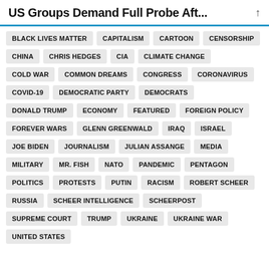US Groups Demand Full Probe Aft...
BLACK LIVES MATTER
CAPITALISM
CARTOON
CENSORSHIP
CHINA
CHRIS HEDGES
CIA
CLIMATE CHANGE
COLD WAR
COMMON DREAMS
CONGRESS
CORONAVIRUS
COVID-19
DEMOCRATIC PARTY
DEMOCRATS
DONALD TRUMP
ECONOMY
FEATURED
FOREIGN POLICY
FOREVER WARS
GLENN GREENWALD
IRAQ
ISRAEL
JOE BIDEN
JOURNALISM
JULIAN ASSANGE
MEDIA
MILITARY
MR. FISH
NATO
PANDEMIC
PENTAGON
POLITICS
PROTESTS
PUTIN
RACISM
ROBERT SCHEER
RUSSIA
SCHEER INTELLIGENCE
SCHEERPOST
SUPREME COURT
TRUMP
UKRAINE
UKRAINE WAR
UNITED STATES